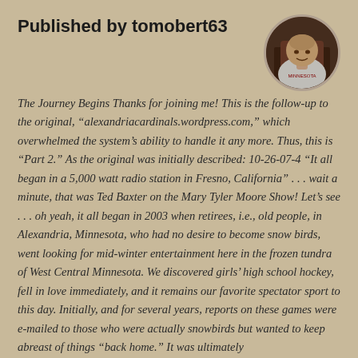Published by tomobert63
[Figure (photo): Circular avatar photo of a person seated, wearing a light hoodie, in a dark indoor setting.]
The Journey Begins Thanks for joining me! This is the follow-up to the original, “alexandriacardinals.wordpress.com,” which overwhelmed the system’s ability to handle it any more. Thus, this is “Part 2.” As the original was initially described: 10-26-07-4 “It all began in a 5,000 watt radio station in Fresno, California” . . . wait a minute, that was Ted Baxter on the Mary Tyler Moore Show! Let’s see . . . oh yeah, it all began in 2003 when retirees, i.e., old people, in Alexandria, Minnesota, who had no desire to become snow birds, went looking for mid-winter entertainment here in the frozen tundra of West Central Minnesota. We discovered girls’ high school hockey, fell in love immediately, and it remains our favorite spectator sport to this day. Initially, and for several years, reports on these games were e-mailed to those who were actually snowbirds but wanted to keep abreast of things “back home.” It was ultimately